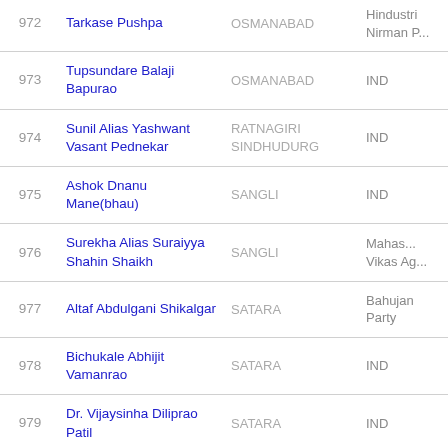| # | Name | Constituency | Party |
| --- | --- | --- | --- |
| 972 | Tarkase Pushpa | OSMANABAD | Hindustri Nirman P... |
| 973 | Tupsundare Balaji Bapurao | OSMANABAD | IND |
| 974 | Sunil Alias Yashwant Vasant Pednekar | RATNAGIRI SINDHUDURG | IND |
| 975 | Ashok Dnanu Mane(bhau) | SANGLI | IND |
| 976 | Surekha Alias Suraiyya Shahin Shaikh | SANGLI | Mahas... Vikas Ag... |
| 977 | Altaf Abdulgani Shikalgar | SATARA | Bahujan Party |
| 978 | Bichukale Abhijit Vamanrao | SATARA | IND |
| 979 | Dr. Vijaysinha Diliprao Patil | SATARA | IND |
| 980 | Subhash Nivrutti Shilewant | SATARA | IND |
| 981 | Suhas Vishwasrao Deshmukh | SATARA | IND |